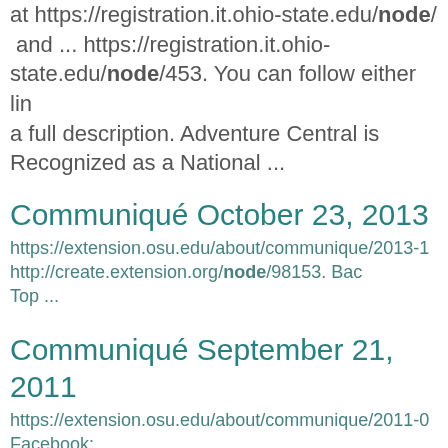at https://registration.it.ohio-state.edu/node/ and ... https://registration.it.ohio-state.edu/node/453. You can follow either link for a full description. Adventure Central is Recognized as a National ...
Communiqué October 23, 2013
https://extension.osu.edu/about/communique/2013-1 http://create.extension.org/node/98153. Back Top ...
Communiqué September 21, 2011
https://extension.osu.edu/about/communique/2011-0 Facebook: http://create.extension.org/node/87209. 4) G